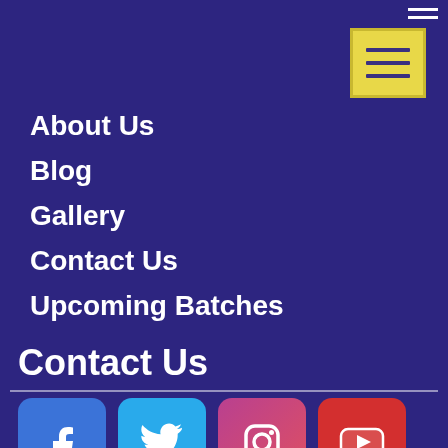[Figure (other): Yellow menu/hamburger button icon in top right corner]
About Us
Blog
Gallery
Contact Us
Upcoming Batches
Contact Us
[Figure (other): Social media icons row: Facebook (blue), Twitter (light blue), Instagram (pink/purple gradient), YouTube (red)]
+91- 89800-70708
+91- 7065-666-333